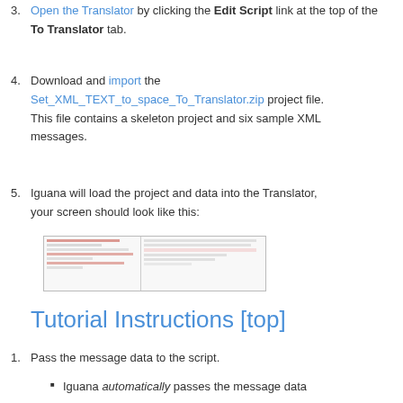3. Open the Translator by clicking the Edit Script link at the bottom of the To Translator tab.
4. Download and import the Set_XML_TEXT_to_space_To_Translator.zip project file. This file contains a skeleton project and six sample XML messages.
5. Iguana will load the project and data into the Translator, your screen should look like this:
[Figure (screenshot): Screenshot of the Translator interface showing code editor on the left and message data on the right]
Tutorial Instructions [top]
1. Pass the message data to the script.
Iguana automatically passes the message data